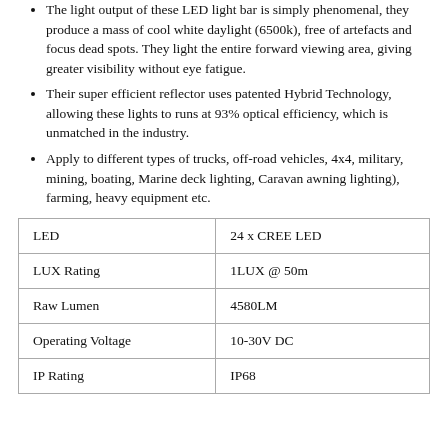The light output of these LED light bar is simply phenomenal, they produce a mass of cool white daylight (6500k), free of artefacts and focus dead spots. They light the entire forward viewing area, giving greater visibility without eye fatigue.
Their super efficient reflector uses patented Hybrid Technology, allowing these lights to runs at 93% optical efficiency, which is unmatched in the industry.
Apply to different types of trucks, off-road vehicles, 4x4, military, mining, boating, Marine deck lighting, Caravan awning lighting), farming, heavy equipment etc.
| LED | 24 x CREE LED |
| LUX Rating | 1LUX @ 50m |
| Raw Lumen | 4580LM |
| Operating Voltage | 10-30V DC |
| IP Rating | IP68 |